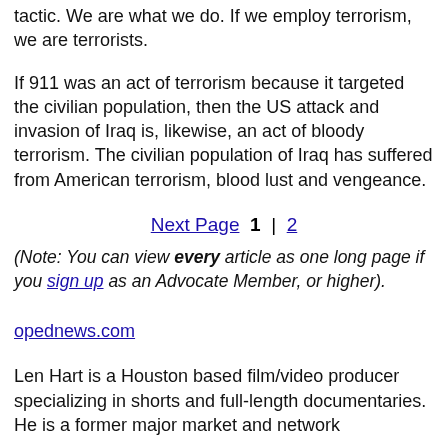tactic. We are what we do. If we employ terrorism, we are terrorists.
If 911 was an act of terrorism because it targeted the civilian population, then the US attack and invasion of Iraq is, likewise, an act of bloody terrorism. The civilian population of Iraq has suffered from American terrorism, blood lust and vengeance.
Next Page  1  |  2
(Note: You can view every article as one long page if you sign up as an Advocate Member, or higher).
opednews.com
Len Hart is a Houston based film/video producer specializing in shorts and full-length documentaries. He is a former major market and network